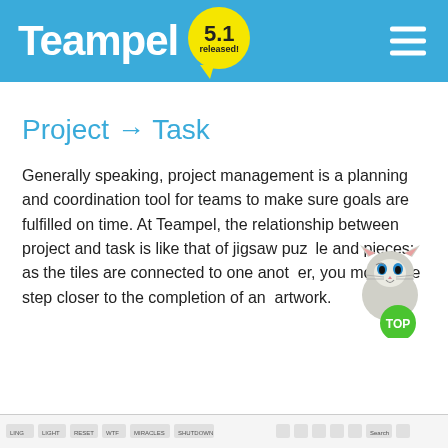Teampel 5.1 released!
Project → Task
Generally speaking, project management is a planning and coordination tool for teams to make sure goals are fulfilled on time. At Teampel, the relationship between project and task is like that of jigsaw puzzle and pieces: as the tiles are connected to one another, you move one step closer to the completion of an artwork.
[Figure (screenshot): Bottom browser toolbar/navigation bar with small UI elements and buttons]